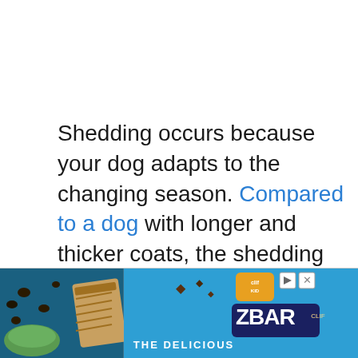Shedding occurs because your dog adapts to the changing season. Compared to a dog with longer and thicker coats, the shedding of a Staffordshire Bull Terrier is barely noticeable. However, compare a Staffordshire Bull Terrier to dog breeds with shorter coats like a Greyhound, you'll see the difference because the she...
[Figure (photo): Advertisement banner at the bottom showing food/snack bars (ZBar by Clif Kid) on a blue background with 'THE DELICIOUS' text]